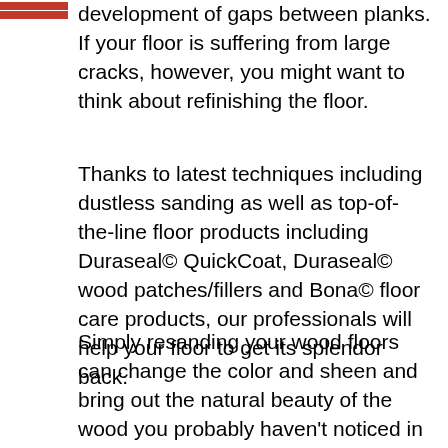development of gaps between planks. If your floor is suffering from large cracks, however, you might want to think about refinishing the floor.
Thanks to latest techniques including dustless sanding as well as top-of-the-line floor products including Duraseal© QuickCoat, Duraseal© wood patches/fillers and Bona© floor care products, our professionals will help your floor to get its splendor back.
Simply resanding your wood floors can change the color and sheen and bring out the natural beauty of the wood you probably haven't noticed in a while. Satin and gloss sheens tend to reflect more and look like a plastic cover over the wood, so you don't notice the grain and color of the wood as much. On